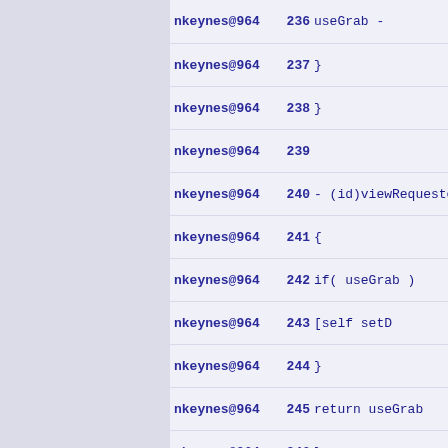nkeynes@964  236        useGrab -
nkeynes@964  237        }
nkeynes@964  238}
nkeynes@964  239
nkeynes@964  240- (id)viewRequeste
nkeynes@964  241{
nkeynes@964  242        if( useGrab )
nkeynes@964  243            [self setD
nkeynes@964  244        }
nkeynes@964  245        return useGrab
nkeynes@964  246}